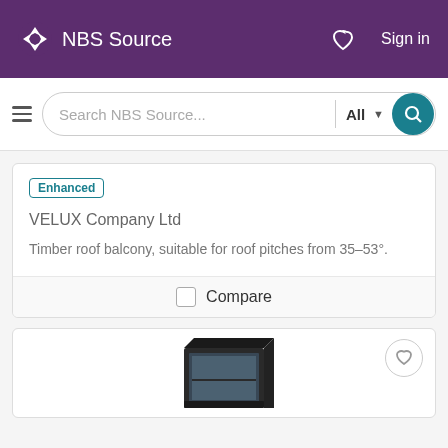NBS Source
Search NBS Source... All
Enhanced
VELUX Company Ltd
Timber roof balcony, suitable for roof pitches from 35–53°.
Compare
[Figure (photo): Partial view of a VELUX roof window product shown from an angle, dark frame visible at bottom of card]